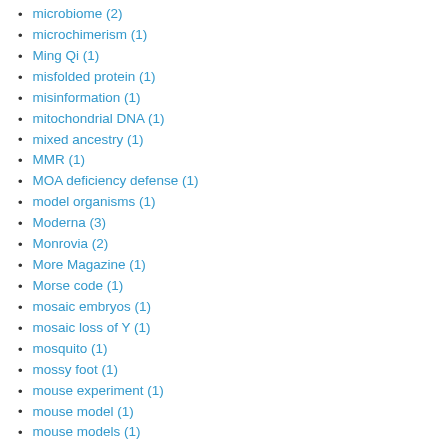microbiome (2)
microchimerism (1)
Ming Qi (1)
misfolded protein (1)
misinformation (1)
mitochondrial DNA (1)
mixed ancestry (1)
MMR (1)
MOA deficiency defense (1)
model organisms (1)
Moderna (3)
Monrovia (2)
More Magazine (1)
Morse code (1)
mosaic embryos (1)
mosaic loss of Y (1)
mosquito (1)
mossy foot (1)
mouse experiment (1)
mouse model (1)
mouse models (1)
MPS (1)
mRNA vaccine (1)
MRSA (1)
multiple endocrine neoplasia (1)
multiple sulfatase deficiency (1)
muscles (1)